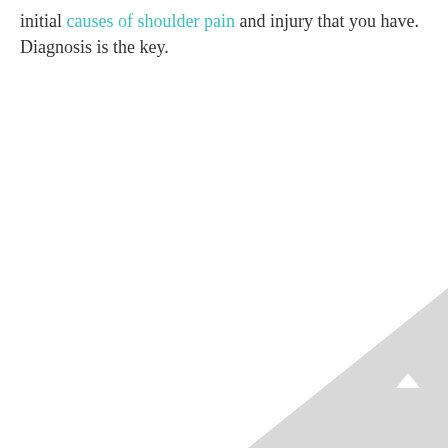initial causes of shoulder pain and injury that you have. Diagnosis is the key.
[Figure (illustration): Light gray triangular corner decoration in bottom-right with a small upward-pointing chevron/arrow button]